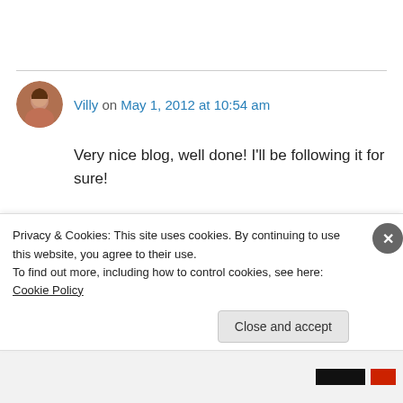Villy on May 1, 2012 at 10:54 am
Very nice blog, well done! I'll be following it for sure!
↳ Reply
Shari on May 1, 2012 at 3:04 pm
Privacy & Cookies: This site uses cookies. By continuing to use this website, you agree to their use.
To find out more, including how to control cookies, see here: Cookie Policy
Close and accept